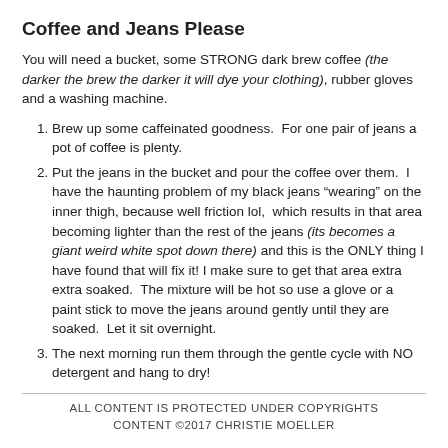Coffee and Jeans Please
You will need a bucket, some STRONG dark brew coffee (the darker the brew the darker it will dye your clothing), rubber gloves and a washing machine.
Brew up some caffeinated goodness.  For one pair of jeans a pot of coffee is plenty.
Put the jeans in the bucket and pour the coffee over them.  I have the haunting problem of my black jeans “wearing” on the inner thigh, because well friction lol,  which results in that area becoming lighter than the rest of the jeans (its becomes a giant weird white spot down there) and this is the ONLY thing I have found that will fix it! I make sure to get that area extra extra soaked.  The mixture will be hot so use a glove or a paint stick to move the jeans around gently until they are soaked.  Let it sit overnight.
The next morning run them through the gentle cycle with NO detergent and hang to dry!
ALL CONTENT IS PROTECTED UNDER COPYRIGHTS CONTENT ©2017 CHRISTIE MOELLER